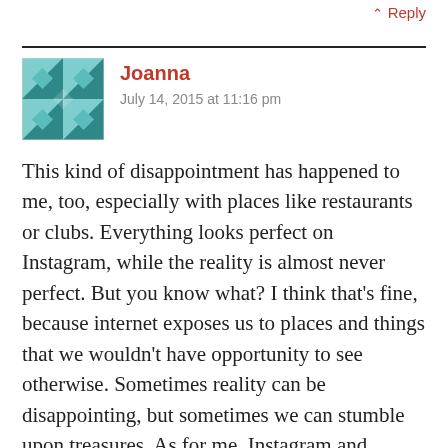↑ Reply
[Figure (illustration): Joanna avatar — teal/turquoise quilt geometric pattern icon]
Joanna
July 14, 2015 at 11:16 pm
This kind of disappointment has happened to me, too, especially with places like restaurants or clubs. Everything looks perfect on Instagram, while the reality is almost never perfect. But you know what? I think that's fine, because internet exposes us to places and things that we wouldn't have opportunity to see otherwise. Sometimes reality can be disappointing, but sometimes we can stumble upon treasures. As for me, Instagram and Pinterest have made me want to see places that I probably wouldn't think of visiting. I just think it's important to discover places on our